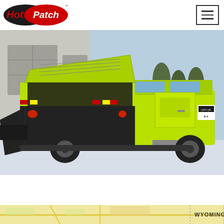Hot Patch logo and navigation menu
[Figure (photo): A bright yellow-green Hot Patch truck with a patching unit mounted on the back, shown from the rear-left angle in a snowy parking lot near a garage building. The unit lid is open revealing the hot patch material compartment with red reflective markings.]
[Figure (map): Partial map strip showing Wyoming region label]